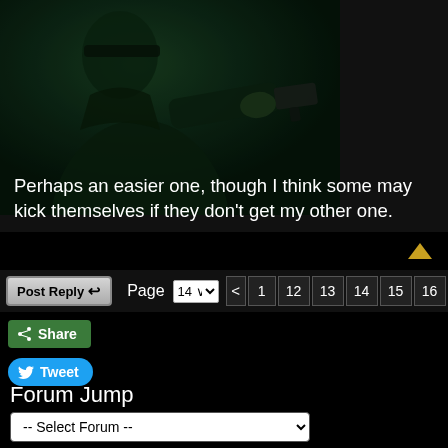[Figure (photo): Dark movie still showing a person in dark clothing holding a gun, with green-tinted lighting, partially visible above the quote text.]
Perhaps an easier one, though I think some may kick themselves if they don't get my other one.
Post Reply  Page 14  < 1 12 13 14 15 16 >
Share
Tweet
Forum Jump
-- Select Forum --